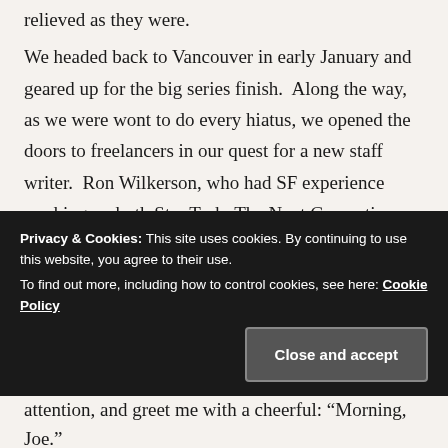relieved as they were.
We headed back to Vancouver in early January and geared up for the big series finish.  Along the way, as we were wont to do every hiatus, we opened the doors to freelancers in our quest for a new staff writer.  Ron Wilkerson, who had SF experience working on both Star Trek: The Next Generation and Star Trek: Voyager, won the position on the strength of a terrific phone pitch.  We bought the story (what would later become the e... t... w...
[Figure (screenshot): Cookie consent banner overlay with dark background. Text reads: 'Privacy & Cookies: This site uses cookies. By continuing to use this website, you agree to their use. To find out more, including how to control cookies, see here: Cookie Policy'. A 'Close and accept' button appears at bottom right.]
attention, and greet me with a cheerful: “Morning, Joe.”